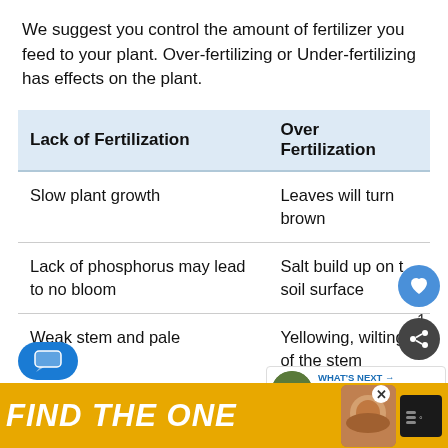We suggest you control the amount of fertilizer you feed to your plant. Over-fertilizing or Under-fertilizing has effects on the plant.
| Lack of Fertilization | Over Fertilization |
| --- | --- |
| Slow plant growth | Leaves will turn brown |
| Lack of phosphorus may lead to no bloom | Salt build up on the soil surface |
| Weak stem and pale | Yellowing, wilting of the stem |
[Figure (screenshot): Advertisement banner reading FIND THE ONE with a dog image]